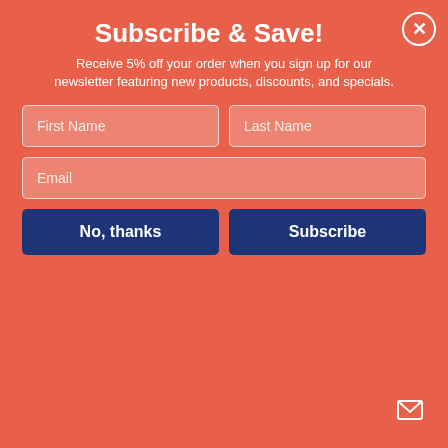Subscribe & Save!
Receive 5% off your order when you sign up for our newsletter featuring new products, discounts, and specials.
First Name
Last Name
Email
No, thanks
Subscribe
$45.40 EA
Qty  1
Add to Cart
In Stock
Clear Partition Extender with Attached Clamp, 29 x 3.88 x 30, Thermoplastic Sheeting